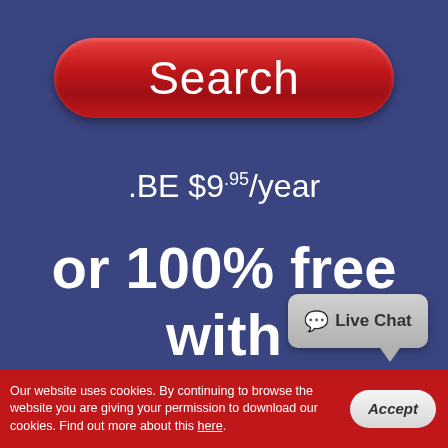[Figure (screenshot): Red rounded rectangle button with white text 'Search']
.BE $9.95/year
or 100% free with shared
[Figure (other): Gray chat bubble with speech icon and 'Live Chat' text]
Our website uses cookies. By continuing to browse the website you are giving your permission to download our cookies. Find out more about this here.